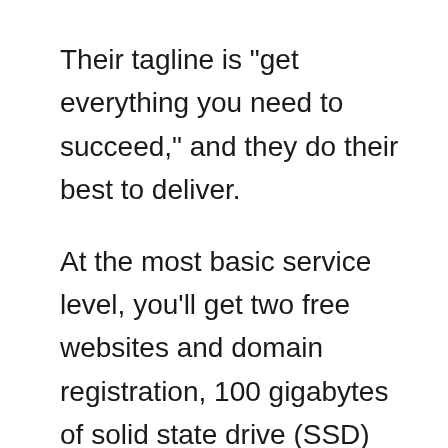Their tagline is "get everything you need to succeed," and they do their best to deliver.
At the most basic service level, you'll get two free websites and domain registration, 100 gigabytes of solid state drive (SSD) storage, which is the current gold standard of reliable hosting tech, unmetered bandwidth, and guaranteed uptime of 99.9 percent. 😎
You'll also get a free domain with signup of the basic shared hosting plan.
HostPapa has also been kind enough to give our